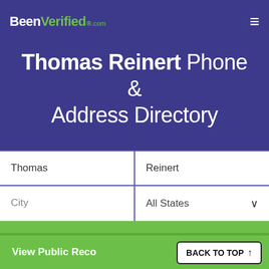BeenVerified.com
Thomas Reinert Phone & Address Directory
[Figure (screenshot): Search form with fields: Thomas, Reinert, City, All States (dropdown), and a SEARCH button]
View Public Reco...
BACK TO TOP ↑